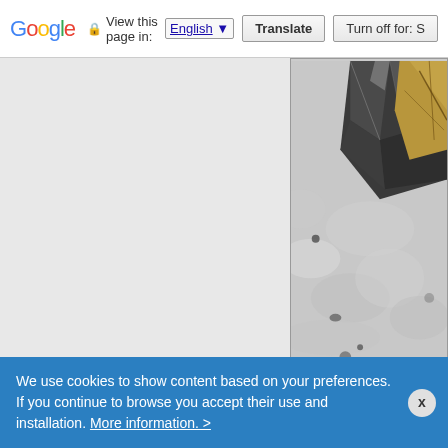Google | View this page in: English | Translate | Turn off for: S
[Figure (photo): Close-up photograph of a rutile and quartz mineral specimen. Shows dark metallic rutile crystals (black/dark grey, faceted, cubic habit) with golden-brown chalcopyrite or similar mineral, set against a white quartz matrix.]
| 15) Rutil,q-MtKapydzhik,Nak |
| --- |
| Description: | Rutile, quartz. Mount Kapydzhik, Nakhchi |
We use cookies to show content based on your preferences. If you continue to browse you accept their use and installation. More information. >